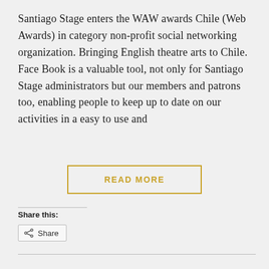Santiago Stage enters the WAW awards Chile (Web Awards) in category non-profit social networking organization. Bringing English theatre arts to Chile. Face Book is a valuable tool, not only for Santiago Stage administrators but our members and patrons too, enabling people to keep up to date on our activities in a easy to use and
READ MORE
Share this:
Share